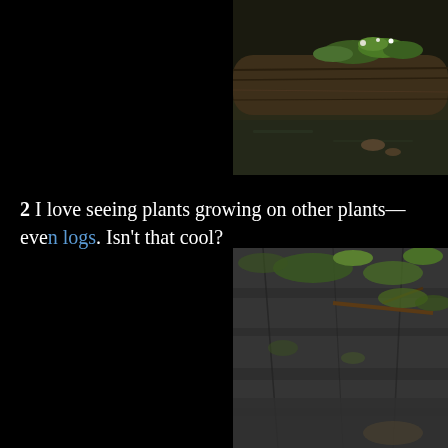[Figure (photo): A mossy log lying in a stream or shallow water, with green plants and small white flowers growing on top of it. Water and rocks visible below.]
2 I love seeing plants growing on other plants—even logs. Isn't that cool?
[Figure (photo): Plants and green moss growing on a rocky cliff or stone wall surface, with ferns and other vegetation clinging to the grey rock face.]